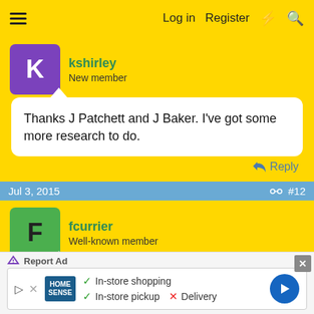Log in  Register
kshirley
New member
Thanks J Patchett and J Baker. I've got some more research to do.
Reply
Jul 3, 2015  #12
fcurrier
Well-known member
Mike: Charlie likes to do little things like this to keep us on our toes. Seat bumpers and spark plugs are pretty much
Report Ad
In-store shopping
In-store pickup  Delivery